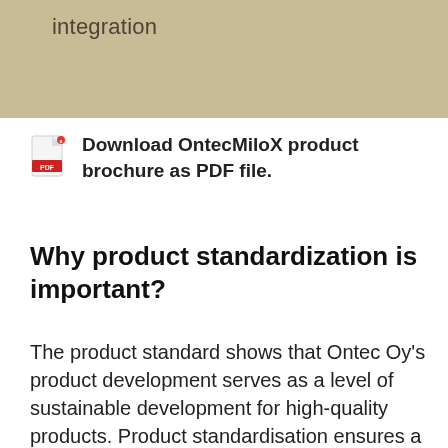integration
Download OntecMiloX product brochure as PDF file.
Why product standardization is important?
The product standard shows that Ontec Oy's product development serves as a level of sustainable development for high-quality products. Product standardisation ensures a sustainable and high-quality